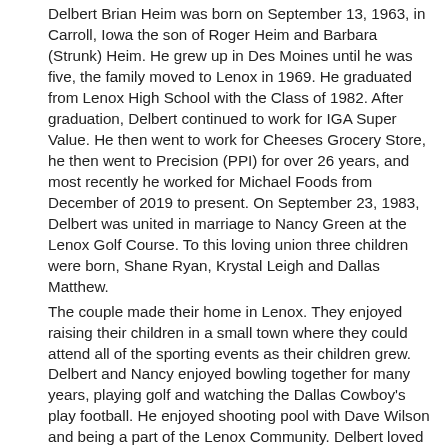Delbert Brian Heim was born on September 13, 1963, in Carroll, Iowa the son of Roger Heim and Barbara (Strunk) Heim.  He grew up in Des Moines until he was five, the family moved to Lenox in 1969.  He graduated from Lenox High School with the Class of 1982.  After graduation, Delbert continued to work for IGA Super Value.  He then went to work for Cheeses Grocery Store, he then went to Precision (PPI) for over 26 years, and most recently he worked for Michael Foods from December of 2019 to present.  On September 23, 1983, Delbert was united in marriage to Nancy Green at the Lenox Golf Course.  To this loving union three children were born, Shane Ryan, Krystal Leigh and Dallas Matthew.
The couple made their home in Lenox.  They enjoyed raising their children in a small town where they could attend all of the sporting events as their children grew.  Delbert and Nancy enjoyed bowling together for many years, playing golf and watching the Dallas Cowboy's play football.  He enjoyed shooting pool with Dave Wilson and being a part of the Lenox Community.  Delbert loved his family, his life changed dramatically in 2015 when his first grandchild was born.  He was a life-time member of St. Patrick Catholic Church.
Left to cherish Delbert's memory is his loving wife of 38 years...